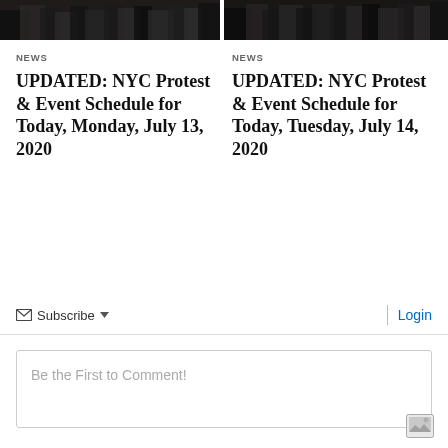[Figure (photo): Two cropped crowd/protest photos at top, side by side]
NEWS
UPDATED: NYC Protest & Event Schedule for Today, Monday, July 13, 2020
NEWS
UPDATED: NYC Protest & Event Schedule for Today, Tuesday, July 14, 2020
Subscribe   Login
Be the First to Comment!